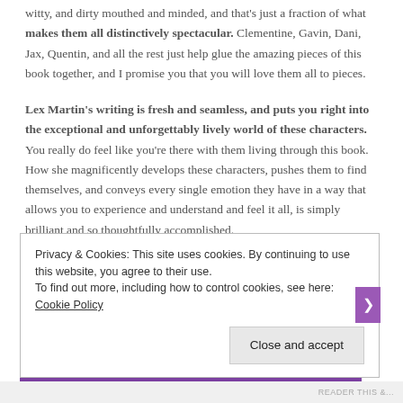witty, and dirty mouthed and minded, and that's just a fraction of what makes them all distinctively spectacular. Clementine, Gavin, Dani, Jax, Quentin, and all the rest just help glue the amazing pieces of this book together, and I promise you that you will love them all to pieces.
Lex Martin's writing is fresh and seamless, and puts you right into the exceptional and unforgettably lively world of these characters. You really do feel like you're there with them living through this book. How she magnificently develops these characters, pushes them to find themselves, and conveys every single emotion they have in a way that allows you to experience and understand and feel it all, is simply brilliant and so thoughtfully accomplished.
All of that makes Daren and Maddie and their story remarkable, relatable,
Privacy & Cookies: This site uses cookies. By continuing to use this website, you agree to their use.
To find out more, including how to control cookies, see here: Cookie Policy

Close and accept